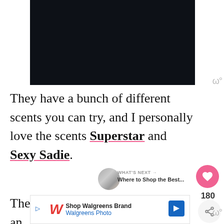[Figure (photo): Dark night sky with scattered white star-like dots on very dark navy/black background]
They have a bunch of different scents you can try, and I personally love the scents Superstar and Sexy Sadie.
The mini one is great for travel, and their De-Odor-Cream deodorants are re...
[Figure (infographic): WHAT'S NEXT → Where to Shop the Best... promotional panel with avatar thumbnail]
[Figure (screenshot): Shop Walgreens Brand / Walgreens Photo advertisement banner with blue navigation arrow]